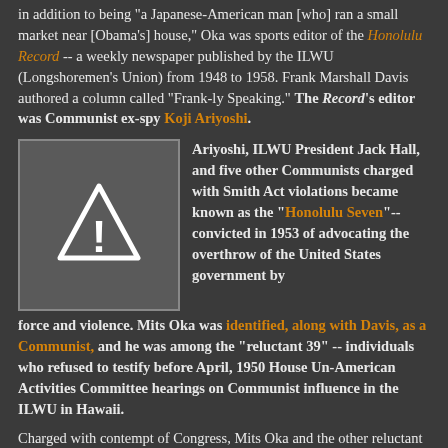in addition to being "a Japanese-American man [who] ran a small market near [Obama's] house," Oka was sports editor of the Honolulu Record -- a weekly newspaper published by the ILWU (Longshoremen's Union) from 1948 to 1958. Frank Marshall Davis authored a column called "Frank-ly Speaking." The Record's editor was Communist ex-spy Koji Ariyoshi.
[Figure (illustration): Warning sign icon: triangle with exclamation mark on dark gray background]
Ariyoshi, ILWU President Jack Hall, and five other Communists charged with Smith Act violations became known as the "Honolulu Seven"-- convicted in 1953 of advocating the overthrow of the United States government by force and violence. Mits Oka was identified, along with Davis, as a Communist, and he was among the "reluctant 39" -- individuals who refused to testify before April, 1950 House Un-American Activities Committee hearings on Communist influence in the ILWU in Hawaii.
Charged with contempt of Congress, Mits Oka and the other reluctant witnesses were acquitted in January, 1951 -- but not before Oka's stance got him booted out of his position as Hawaii...